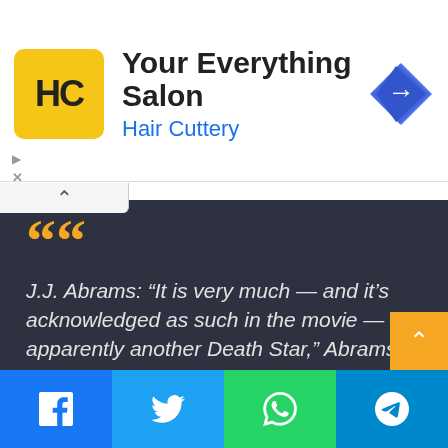[Figure (other): Hair Cuttery advertisement banner with logo, tagline 'Your Everything Salon', and navigation arrow icon]
J.J. Abrams: “It is very much — and it’s acknowledged as such in the movie — apparently another Death Star,” Abrams says. “But what it’s capable of, how it works, and what the threat is, is far greater than what the Death Star could have done. Starkiller Base is another step forward, technologically speaking, in terms of power.”
[Figure (other): Social share bar with Facebook, Twitter, WhatsApp, and Telegram buttons]